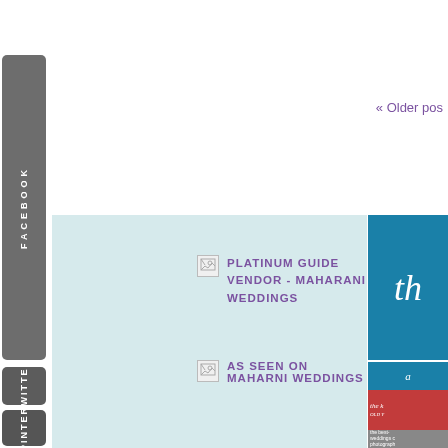« Older pos
[Figure (other): Broken image icon followed by text PLATINUM GUIDE VENDOR - MAHARANI WEDDINGS in purple uppercase letters on light blue background]
[Figure (other): Broken image icon followed by text AS SEEN ON MAHARNI WEDDINGS in purple uppercase letters on light blue background]
[Figure (other): Right sidebar showing teal/blue block with white italic text 'th', followed by magazine and book covers, and another teal block]
FACEBOOK
TWITTER
PINTEREST